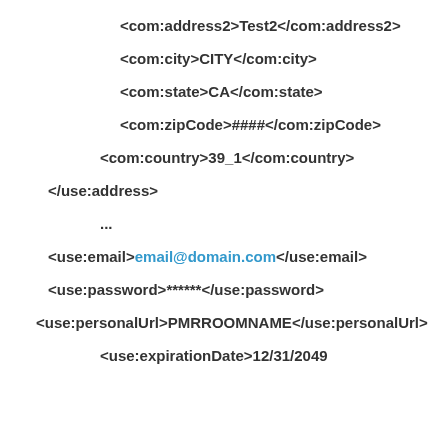<com:address2>Test2</com:address2>
<com:city>CITY</com:city>
<com:state>CA</com:state>
<com:zipCode>####</com:zipCode>
<com:country>39_1</com:country>
</use:address>
...
<use:email>email@domain.com</use:email>
<use:password>******</use:password>
<use:personalUrl>PMRROOMNAME</use:personalUrl>
<use:expirationDate>12/31/2049